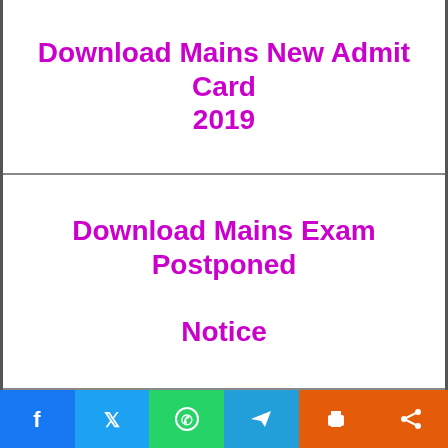| Download Mains New Admit Card 2019 |
| Download Mains Exam Postponed Notice |
| Apply Online |
| Login (Already Registered) |
| Download Notification |
| Official Website |